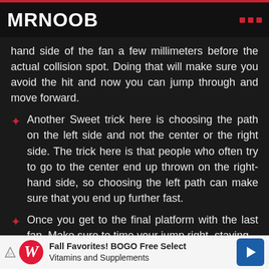MRNOOB
hand side of the fan a few millimeters before the actual collision spot. Doing that will make sure you avoid the hit and now you can jump through and move forward.
Another Sweet trick here is choosing the path on the left side and not the center or the right side. The trick here is that people who often try to go to the center end up thrown on the right-hand side, so choosing the left path can make sure that you end up further fast.
Once you get to the final platform with the last fan, Make sure to time your jump right, staying
[Figure (other): Advertisement banner for Walgreens: Fall Favorites! BOGO Free Select Vitamins and Supplements]